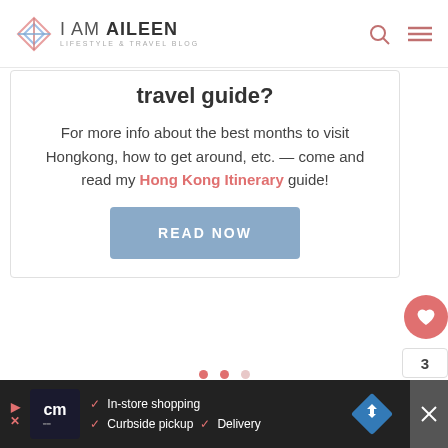i AM AiLEEN — Lifestyle & Travel Blog
travel guide?
For more info about the best months to visit Hongkong, how to get around, etc. — come and read my Hong Kong Itinerary guide!
READ NOW
[Figure (other): Three pagination dots indicating a slider/carousel position]
[Figure (photo): Partial view of a colorful image with pink and orange tones at the bottom of the page]
Advertisement: In-store shopping, Curbside pickup, Delivery